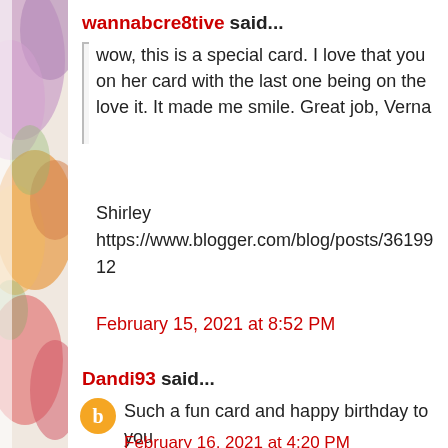[Figure (illustration): Decorative watercolor floral image strip on the left side of the page, showing colorful flowers in purple, orange, and yellow tones.]
wannabcre8tive said...
wow, this is a special card. I love that you on her card with the last one being on the love it. It made me smile. Great job, Verna

Shirley
https://www.blogger.com/blog/posts/36199
12
February 15, 2021 at 8:52 PM
Dandi93 said...
Such a fun card and happy birthday to you Awesome job Verna
February 16, 2021 at 4:20 PM